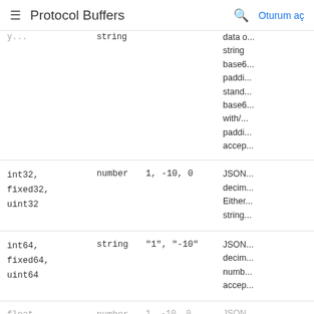Protocol Buffers — Oturum aç
| Proto type | JSON type | JSON example | Notes |
| --- | --- | --- | --- |
| string | string | ... | data ... string ... base6... paddi... stand... base6... with/... paddi... accep... |
| int32, fixed32, uint32 | number | 1, -10, 0 | JSON... decim... Either... string... |
| int64, fixed64, uint64 | string | "1", "-10" | JSON... decim... numb... accep... |
| float... | number | 1, -10, 0, "Null"... | JSON... |